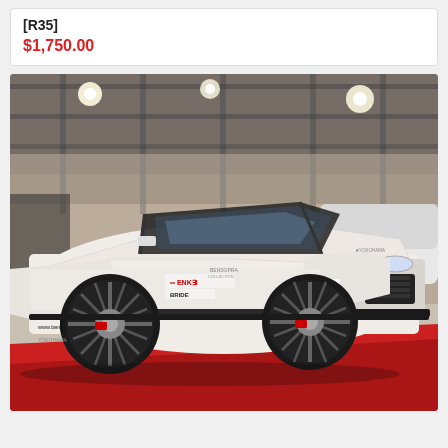[R35]
$1,750.00
[Figure (photo): White modified Nissan GT-R (R35) with wide body kit at an auto show, featuring sponsor decals including KW, GReddy, HASHiMoTO corporation, SupersMade, BRIDE, TRUST, and www.bensopra.com, displayed on a red carpet floor inside an exhibition hall with metal truss structures in the background.]